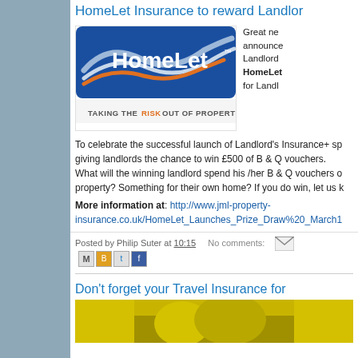HomeLet Insurance to reward Landlords
[Figure (logo): HomeLet logo with tagline TAKING THE RISK OUT OF PROPERTY RENTAL]
Great news announced for Landlords. HomeLet for Landlords
To celebrate the successful launch of Landlord's Insurance+ sp giving landlords the chance to win £500 of B & Q vouchers. What will the winning landlord spend his /her B & Q vouchers on their property? Something for their own home? If you do win, let us k
More information at: http://www.jml-property-insurance.co.uk/HomeLet_Launches_Prize_Draw%20_March1
Posted by Philip Suter at 10:15   No comments:
Don't forget your Travel Insurance for